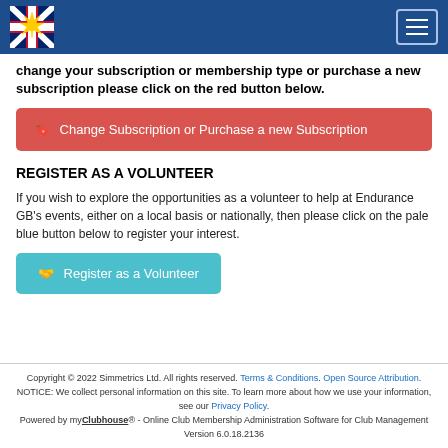Endurance GB website header with logo and navigation menu button
change your subscription or membership type or purchase a new subscription please click on the red button below.
[Figure (other): Red button labeled 'Change Subscription or Purchase a new Subscription']
REGISTER AS A VOLUNTEER
If you wish to explore the opportunities as a volunteer to help at Endurance GB's events, either on a local basis or nationally, then please click on the pale blue button below to register your interest.
[Figure (other): Teal/pale blue button labeled 'Register as a Volunteer']
Copyright © 2022 Simmetrics Ltd. All rights reserved. Terms & Conditions. Open Source Attribution. NOTICE: We collect personal information on this site. To learn more about how we use your information, see our Privacy Policy. Powered by myClubhouse® - Online Club Membership Administration Software for Club Management Version 6.0.18.2136